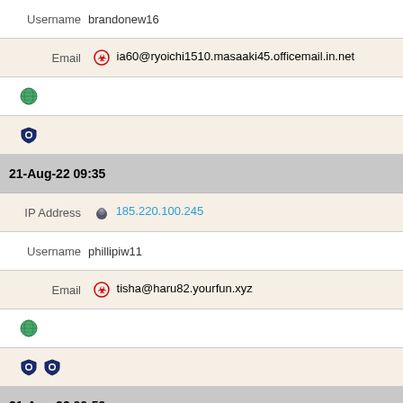| Username | brandonew16 |
| Email | [bio] ia60@ryoichi1510.masaaki45.officemail.in.net |
| [globe] |  |
| [shield] |  |
| 21-Aug-22 09:35 |  |
| IP Address | [tor] 185.220.100.245 |
| Username | phillipiw11 |
| Email | [bio] tisha@haru82.yourfun.xyz |
| [globe] |  |
| [shield][shield] |  |
| 21-Aug-22 00:59 |  |
| IP Address | [tor] 185.220.100.245 |
| Username | cassiecl2 |
| Email | [bio] lydiasf3@masaaki77.funnetwork.xyz |
| [globe] |  |
| [shield][shield] |  |
| 20-Aug-22 22:25 |  |